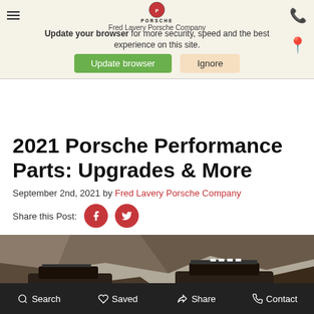Fred Lavery Porsche Company
Update your browser for more security, speed and the best experience on this site.
Update browser | Ignore
2021 Porsche Performance Parts: Upgrades & More
September 2nd, 2021 by Fred Lavery Porsche Company
Share this Post:
[Figure (photo): Two Porsche SUVs parked in front of rocky cliffs in an off-road desert setting]
Search  Saved  Share  Contact